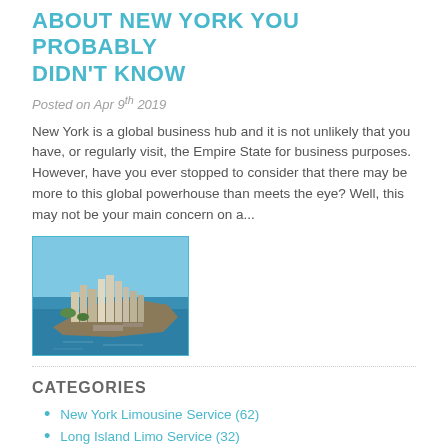ABOUT NEW YORK YOU PROBABLY DIDN'T KNOW
Posted on Apr 9th 2019
New York is a global business hub and it is not unlikely that you have, or regularly visit, the Empire State for business purposes. However, have you ever stopped to consider that there may be more to this global powerhouse than meets the eye? Well, this may not be your main concern on a...
[Figure (photo): Aerial view of Manhattan, New York City, showing skyscrapers and surrounding water]
CATEGORIES
New York Limousine Service (62)
Long Island Limo Service (32)
Things To Do In Long Island (17)